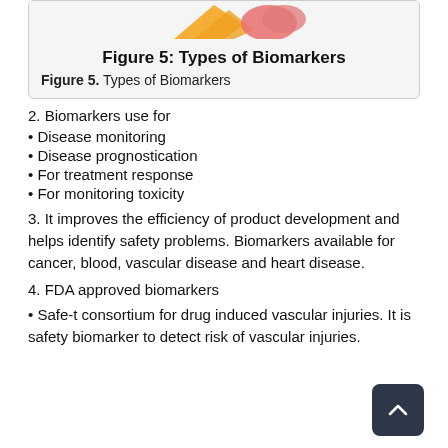[Figure (illustration): Partial view of Figure 5: Types of Biomarkers illustration with orange and pink/red colored shapes visible at top]
Figure 5: Types of Biomarkers
Figure 5. Types of Biomarkers
2. Biomarkers use for
Disease monitoring
Disease prognostication
For treatment response
For monitoring toxicity
3. It improves the efficiency of product development and helps identify safety problems. Biomarkers available for cancer, blood, vascular disease and heart disease.
4. FDA approved biomarkers
• Safe-t consortium for drug induced vascular injuries. It is safety biomarker to detect risk of vascular injuries.